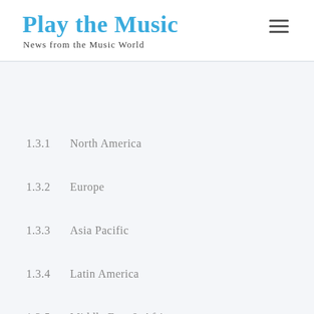Play the Music
News from the Music World
1.3.1    North America
1.3.2    Europe
1.3.3    Asia Pacific
1.3.4    Latin America
1.3.5    Middle East & Africa
1.4    Data Sources
1.4.1    Secondary